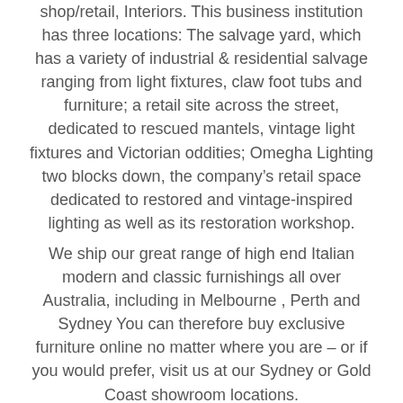shop/retail, Interiors. This business institution has three locations: The salvage yard, which has a variety of industrial & residential salvage ranging from light fixtures, claw foot tubs and furniture; a retail site across the street, dedicated to rescued mantels, vintage light fixtures and Victorian oddities; Omegha Lighting two blocks down, the company’s retail space dedicated to restored and vintage-inspired lighting as well as its restoration workshop.
We ship our great range of high end Italian modern and classic furnishings all over Australia, including in Melbourne , Perth and Sydney You can therefore buy exclusive furniture online no matter where you are – or if you would prefer, visit us at our Sydney or Gold Coast showroom locations.
Sourced exclusively from leading brands who share our passion for style and commitment to quality, no matter what you’re looking for we can ...